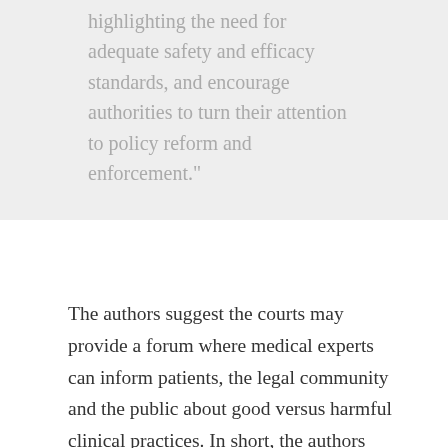highlighting the need for adequate safety and efficacy standards, and encourage authorities to turn their attention to policy reform and enforcement."
The authors suggest the courts may provide a forum where medical experts can inform patients, the legal community and the public about good versus harmful clinical practices. In short, the authors believe the legal process can be an effective forum for to provide education and outreach to those with disease and the public at large.
The better option of course would be for the clinics themselves to reform their practices and engage with the FDA to test their therapies in a clinical trial. Until